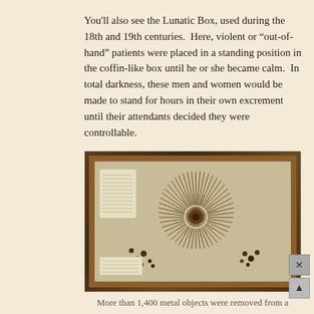You'll also see the Lunatic Box, used during the 18th and 19th centuries.  Here, violent or “out-of-hand” patients were placed in a standing position in the coffin-like box until he or she became calm.  In total darkness, these men and women would be made to stand for hours in their own excrement until their attendants decided they were controllable.
[Figure (photo): Museum display case with a large radial arrangement of over 1,400 metal objects (nails, screws, pins, and other swallowed items) fanned out from a central cluster, displayed on a light-colored backing inside a wooden-framed glass case.]
More than 1,400 metal objects were removed from a